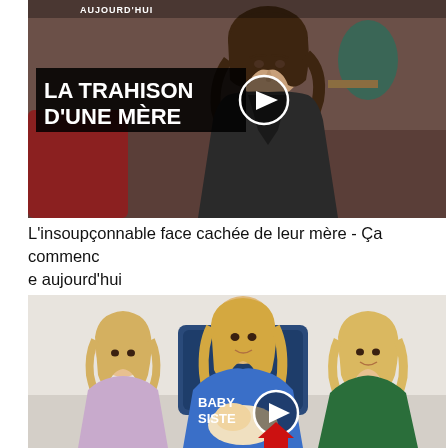[Figure (screenshot): TV talk show screenshot with a woman in a black leather jacket sitting at a studio set. Black text overlay reads 'LA TRAHISON D'UNE MÈRE' with a play button. Top bar reads 'AUJOURD'HUI'.]
L'insoupçonnable face cachée de leur mère - Ça commence aujourd'hui
[Figure (screenshot): Photo of a young blonde woman in a blue 'BABY SISTER' hoodie sitting with two young blonde girls and holding a newborn baby. Play button overlay visible.]